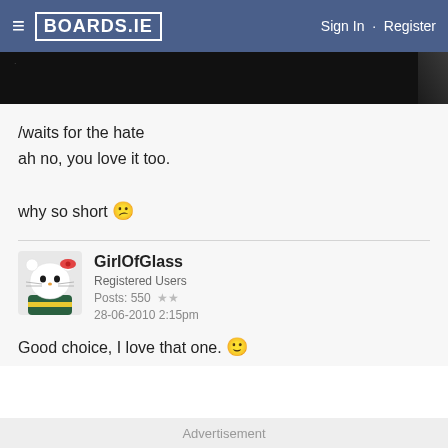BOARDS.IE  Sign In · Register
[Figure (photo): Dark/black image strip at top of page]
/waits for the hate
ah no, you love it too.

why so short 😕
GirlOfGlass
Registered Users
Posts: 550 ★★
28-06-2010 2:15pm
Good choice, I love that one. 🙂
Advertisement